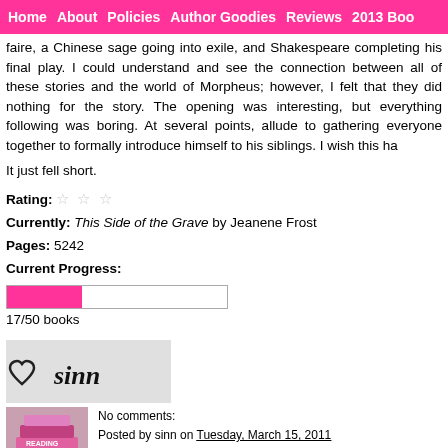Home  About  Policies  Author Goodies  Reviews  2013 Boo
faire, a Chinese sage going into exile, and Shakespeare completing his final play. I could understand and see the connection between all of these stories and the world of Morpheus; however, I felt that they did nothing for the story. The opening was interesting, but everything following was boring. At several points, alluded to gathering everyone together to formally introduce himself to his siblings. I wish this ha
It just fell short.
Rating: ☆ ☆ ☆
Currently: This Side of the Grave by Jeanene Frost
Pages: 5242
Current Progress:
17/50 books
[Figure (illustration): Signature image showing a heart symbol and the word 'sinn' in handwritten script on a light gray background]
[Figure (photo): Stack of books image used as blog decoration, pink/magenta toned]
No comments:
Posted by sinn on Tuesday, March 15, 2011
Categories: book review, graphic novel, neil gaiman, the sandman